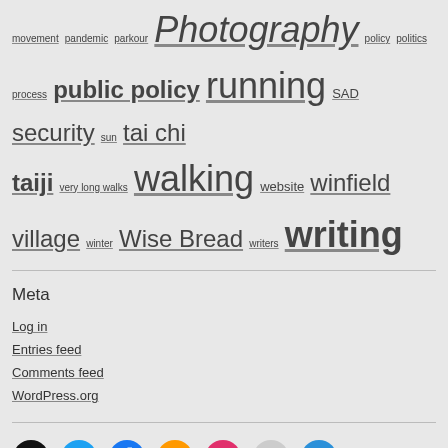movement pandemic parkour Photography policy politics process public policy running SAD security sun tai chi taiji very long walks walking website winfield village winter Wise Bread writers writing
Meta
Log in
Entries feed
Comments feed
WordPress.org
[Figure (infographic): Social media icons row: GitHub, Twitter, Facebook, Micro.blog (star), Instagram, Flickr, Mastodon]
This site is powered by WordPress and styled with GenPress